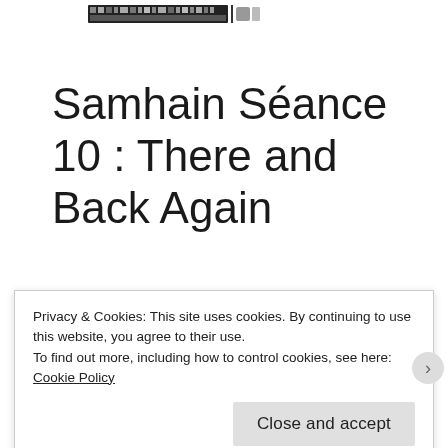[logo/header image]
Samhain Séance 10 : There and Back Again
Privacy & Cookies: This site uses cookies. By continuing to use this website, you agree to their use.
To find out more, including how to control cookies, see here: Cookie Policy
Close and accept